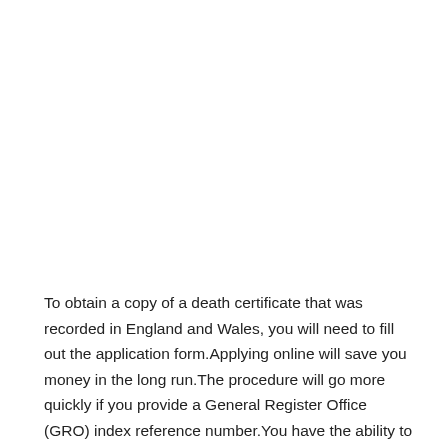To obtain a copy of a death certificate that was recorded in England and Wales, you will need to fill out the application form.Applying online will save you money in the long run.The procedure will go more quickly if you provide a General Register Office (GRO) index reference number.You have the ability to examine the comprehensive list of costs.We are aware that there may be accessibility concerns with this publication.